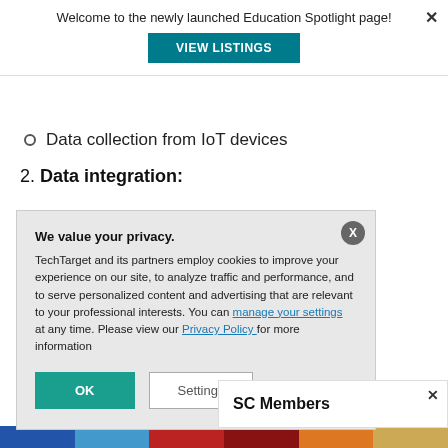Welcome to the newly launched Education Spotlight page!
Data collection from IoT devices
2. Data integration:
...environment
...r is that the
...ication
[Figure (screenshot): Privacy consent modal overlay with title 'We value your privacy.' and buttons OK and Settings]
[Figure (screenshot): Partial modal titled 'SC Members' with close button]